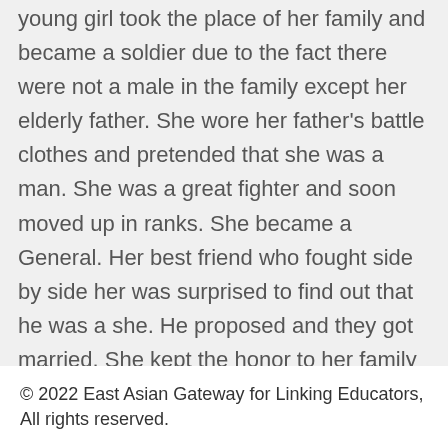young girl took the place of her family and became a soldier due to the fact there were not a male in the family except her elderly father. She wore her father's battle clothes and pretended that she was a man. She was a great fighter and soon moved up in ranks. She became a General. Her best friend who fought side by side her was surprised to find out that he was a she. He proposed and they got married. She kept the honor to her family and they lived happily ever after.
© 2022 East Asian Gateway for Linking Educators, All rights reserved.